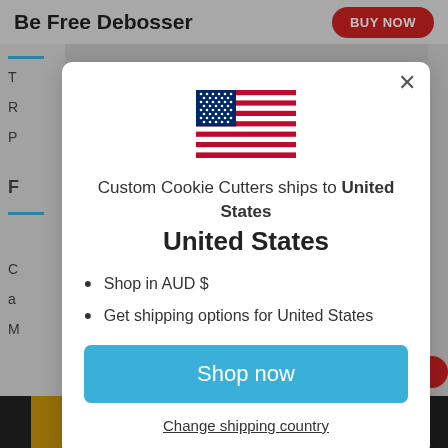[Figure (screenshot): Background of a web page showing 'Be Free Debosser' product page with a BUY NOW red button, partial text lines on left, and navigation bar at bottom.]
[Figure (illustration): United States flag emoji/icon centered in the modal dialog.]
Custom Cookie Cutters ships to United States
Shop in AUD $
Get shipping options for United States
Shop now
Change shipping country